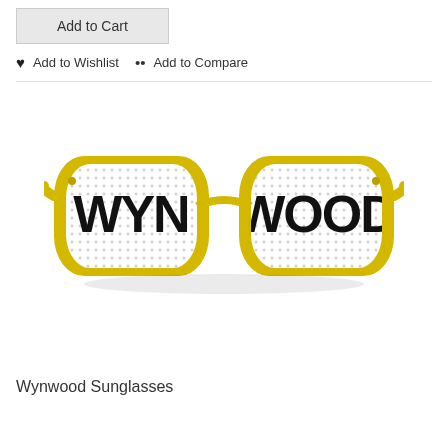Add to Cart
♥ Add to Wishlist  •• Add to Compare
[Figure (photo): Yellow-framed Wynwood sunglasses with white lenses featuring black dot pattern and bold 'WYNWOOD' text split across both lenses]
Wynwood Sunglasses